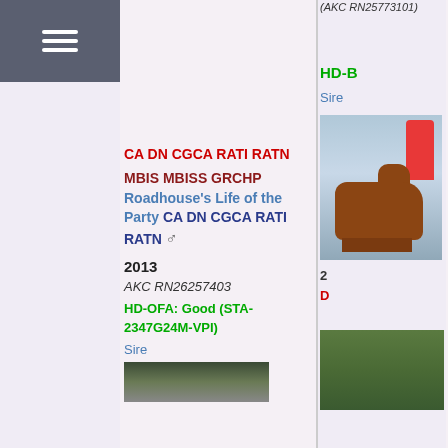[Figure (other): Navigation hamburger menu icon on dark gray background]
(AKC RN25773101)
HD-B
Sire
[Figure (photo): Photo of a boxer dog being shown, brown/brindle coloring, handler in red shirt visible]
CA DN CGCA RATI RATN
MBIS MBISS GRCHP Roadhouse's Life of the Party CA DN CGCA RATI RATN ♂
2013
AKC RN26257403
HD-OFA: Good (STA-2347G24M-VPI)
Sire
[Figure (photo): Partial photo of dogs, partially visible at bottom of page]